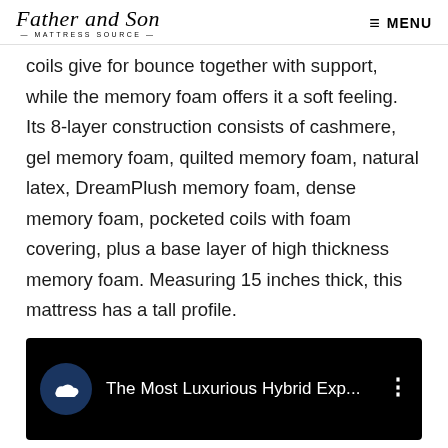Father and Son MATTRESS SOURCE — MENU
coils give for bounce together with support, while the memory foam offers it a soft feeling. Its 8-layer construction consists of cashmere, gel memory foam, quilted memory foam, natural latex, DreamPlush memory foam, dense memory foam, pocketed coils with foam covering, plus a base layer of high thickness memory foam. Measuring 15 inches thick, this mattress has a tall profile.
[Figure (screenshot): YouTube video thumbnail showing 'The Most Luxurious Hybrid Exp...' with a dark navy circle icon containing a cloud/mattress logo on a black background]